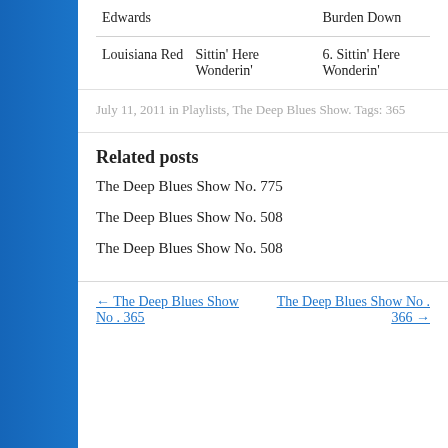| Artist | Title | Track |
| --- | --- | --- |
| Edwards |  | Burden Down |
| Louisiana Red | Sittin' Here Wonderin' | 6. Sittin' Here Wonderin' |
July 11, 2011 in Playlists, The Deep Blues Show. Tags: 365
Related posts
The Deep Blues Show No. 775
The Deep Blues Show No. 508
The Deep Blues Show No. 508
← The Deep Blues Show No . 365    The Deep Blues Show No . 366 →